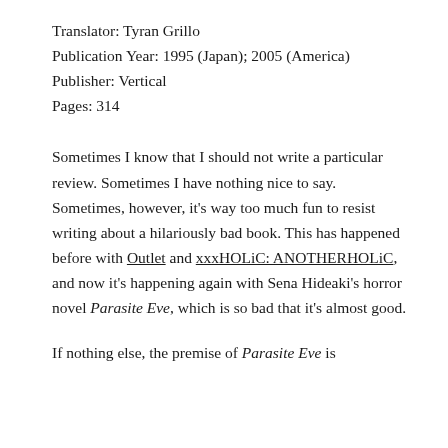Translator: Tyran Grillo
Publication Year: 1995 (Japan); 2005 (America)
Publisher: Vertical
Pages: 314
Sometimes I know that I should not write a particular review. Sometimes I have nothing nice to say. Sometimes, however, it's way too much fun to resist writing about a hilariously bad book. This has happened before with Outlet and xxxHOLiC: ANOTHERHOLiC, and now it's happening again with Sena Hideaki's horror novel Parasite Eve, which is so bad that it's almost good.
If nothing else, the premise of Parasite Eve is